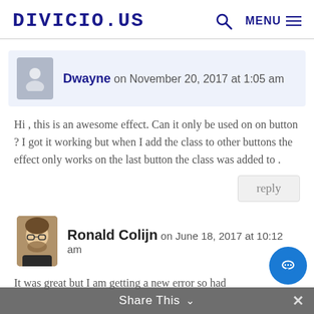DIVICIO.US  🔍  MENU
Dwayne on November 20, 2017 at 1:05 am
Hi , this is an awesome effect. Can it only be used on on button ? I got it working but when I add the class to other buttons the effect only works on the last button the class was added to .
reply
Ronald Colijn on June 18, 2017 at 10:12 am
It was great but I am getting a new error so had
Share This